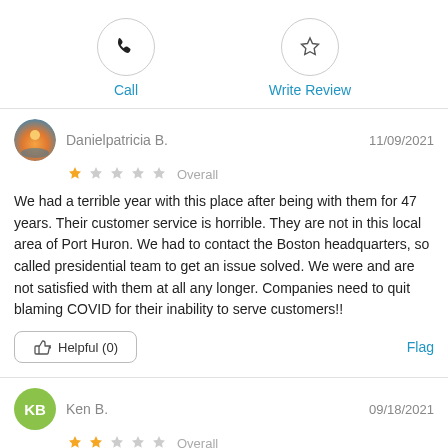[Figure (infographic): Call button with phone icon in circle]
Call
[Figure (infographic): Write Review button with star icon in circle]
Write Review
Danielpatricia B.
11/09/2021
[Figure (infographic): 1 out of 5 stars Overall rating]
We had a terrible year with this place after being with them for 47 years. Their customer service is horrible. They are not in this local area of Port Huron. We had to contact the Boston headquarters, so called presidential team to get an issue solved. We were and are not satisfied with them at all any longer. Companies need to quit blaming COVID for their inability to serve customers!!
Helpful (0)
Flag
Ken B.
09/18/2021
[Figure (infographic): 2 out of 5 stars Overall rating]